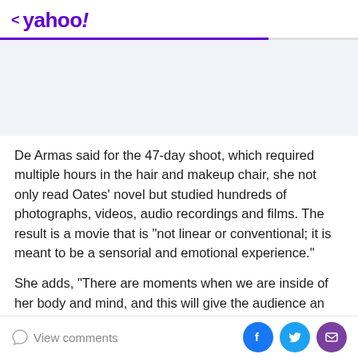< yahoo!
[Figure (other): Advertisement placeholder area with light blue-gray background]
De Armas said for the 47-day shoot, which required multiple hours in the hair and makeup chair, she not only read Oates' novel but studied hundreds of photographs, videos, audio recordings and films. The result is a movie that is “not linear or conventional; it is meant to be a sensorial and emotional experience.”
She adds, “There are moments when we are inside of her body and mind, and this will give the audience an
View comments